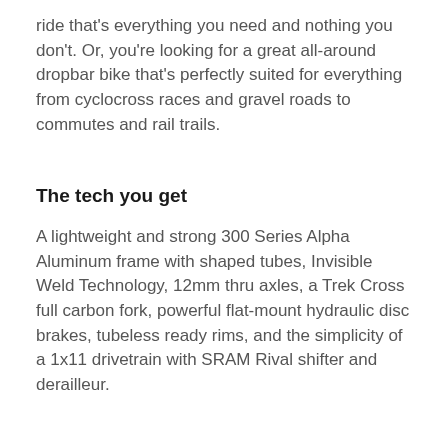ride that's everything you need and nothing you don't. Or, you're looking for a great all-around dropbar bike that's perfectly suited for everything from cyclocross races and gravel roads to commutes and rail trails.
The tech you get
A lightweight and strong 300 Series Alpha Aluminum frame with shaped tubes, Invisible Weld Technology, 12mm thru axles, a Trek Cross full carbon fork, powerful flat-mount hydraulic disc brakes, tubeless ready rims, and the simplicity of a 1x11 drivetrain with SRAM Rival shifter and derailleur.
The final word
Crockett 5 Disc is a race-ready cyclocross bike with an advanced alloy frame, but it's a lot more than that, too. Whether you're gearing for a cyclocross season or